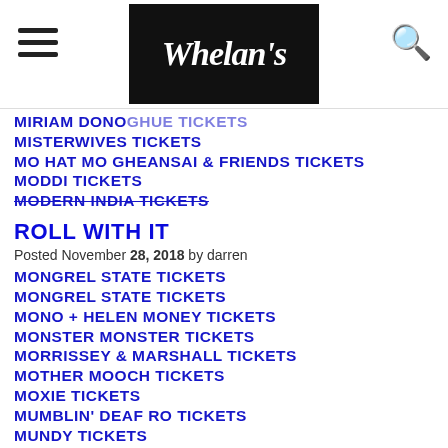Whelans — navigation header with hamburger menu and search
MIRIAM DONO[ghue] TICKETS
MISTERWIVES TICKETS
MO HAT MO GHEANSAI & FRIENDS TICKETS
MODDI TICKETS
MODERN INDIA TICKETS (strikethrough)
ROLL WITH IT
Posted November 28, 2018 by darren
MONGREL STATE TICKETS
MONGREL STATE TICKETS
MONO + HELEN MONEY TICKETS
MONSTER MONSTER TICKETS
MORRISSEY & MARSHALL TICKETS
MOTHER MOOCH TICKETS
MOXIE TICKETS
MUMBLIN' DEAF RO TICKETS
MUNDY TICKETS
MUSIC TO HELP HOMELESS PEOPLE TICKETS
MYLES MANLEY TICKETS
MY[RTLE LEE] TICKETS (partially cut off)